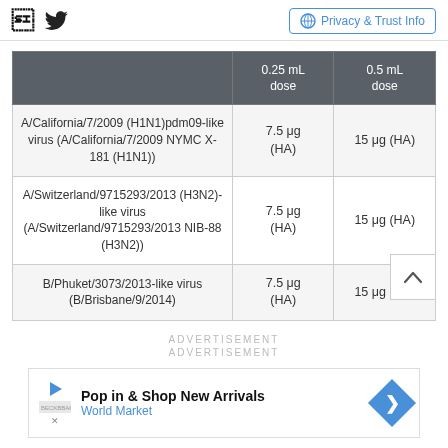Social icons and Privacy & Trust Info
|  | 0.25 mL dose | 0.5 mL dose |
| --- | --- | --- |
| A/California/7/2009 (H1N1)pdm09-like virus (A/California/7/2009 NYMC X-181 (H1N1)) | 7.5 μg (HA) | 15 μg (HA) |
| A/Switzerland/9715293/2013 (H3N2)-like virus (A/Switzerland/9715293/2013 NIB-88 (H3N2)) | 7.5 μg (HA) | 15 μg (HA) |
| B/Phuket/3073/2013-like virus (B/Brisbane/9/2014) | 7.5 μg (HA) | 15 μg (HA) |
ADVERTISEMENT
ADVERTISEMENT
Pop in & Shop New Arrivals World Market